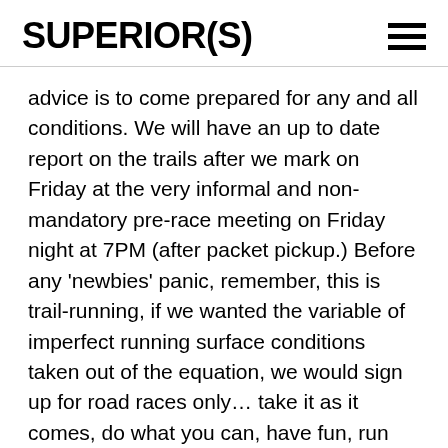SUPERIOR(S)
advice is to come prepared for any and all conditions. We will have an up to date report on the trails after we mark on Friday at the very informal and non-mandatory pre-race meeting on Friday night at 7PM (after packet pickup.) Before any ‘newbies’ panic, remember, this is trail-running, if we wanted the variable of imperfect running surface conditions taken out of the equation, we would sign up for road races only… take it as it comes, do what you can, have fun, run